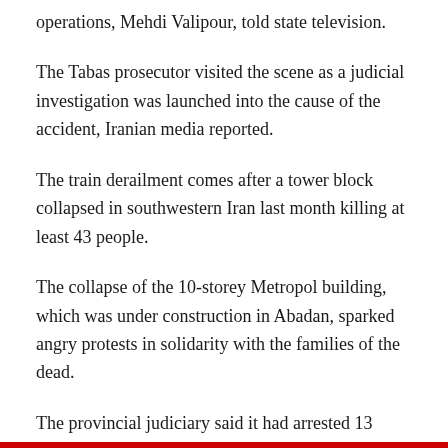operations, Mehdi Valipour, told state television.
The Tabas prosecutor visited the scene as a judicial investigation was launched into the cause of the accident, Iranian media reported.
The train derailment comes after a tower block collapsed in southwestern Iran last month killing at least 43 people.
The collapse of the 10-storey Metropol building, which was under construction in Abadan, sparked angry protests in solidarity with the families of the dead.
The provincial judiciary said it had arrested 13 people, including Abadan’s mayor and two former mayors, suspected of being “responsible” for the tragedy.
The disaster was one of Iran’s deadliest in years and sparked demonstrations across the country against authorities accused of corruption and incompetence.